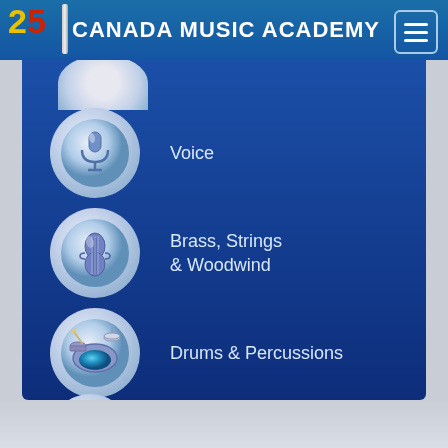Canada Music Academy
Voice
Brass, Strings & Woodwind
Drums & Percussions
Songwriting, Recording, DJ +